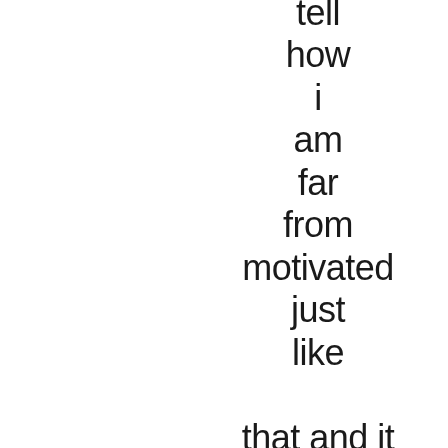tell
how
i
am
far
from
motivated
just
like

that and it

hurts
imagine
not
a single thing is